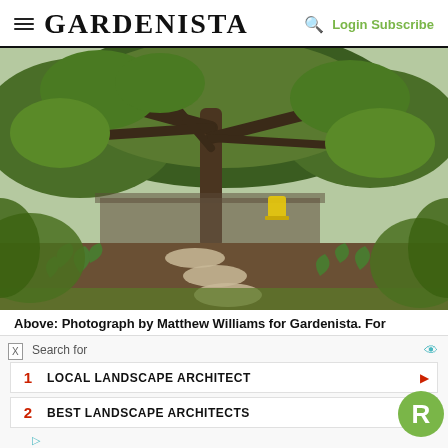GARDENISTA — Login Subscribe
[Figure (photo): Garden with large tree, stone path, agave plants, lush greenery, and a yellow chair in the background near a low building.]
Above: Photograph by Matthew Williams for Gardenista. For
Search for
1 LOCAL LANDSCAPE ARCHITECT
2 BEST LANDSCAPE ARCHITECTS